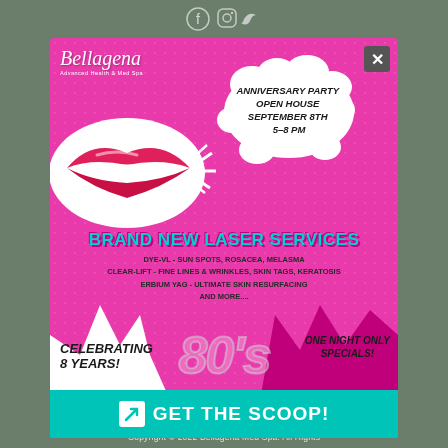[Figure (infographic): Bellagena Med Spa anniversary party advertisement with pop-art style pink background, lips graphic, speech bubble announcing Anniversary Party Open House September 8th 5-8 PM, brand new laser services listing, 80s theme with celebrating 8 years and one night only specials, teal CTA button saying GET THE SCOOP!]
Copyright © 2022 Bellagena Med Spa. All Rights